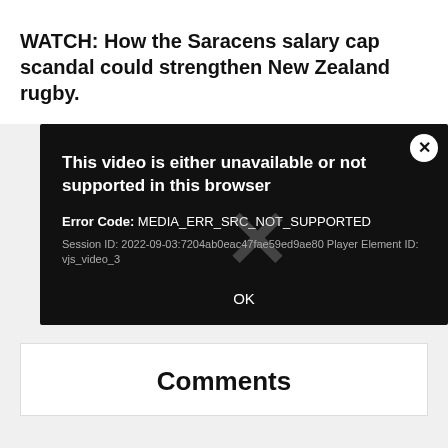WATCH: How the Saracens salary cap scandal could strengthen New Zealand rugby.
[Figure (screenshot): Video player error dialog on black background. Shows error message: 'This video is either unavailable or not supported in this browser'. Error Code: MEDIA_ERR_SRC_NOT_SUPPORTED. Session ID: 2022-09-03:7204ab0eac47fae59ed9ae80 Player Element ID: vjs_video_3. OK button at bottom. Close (X) button in top-right corner. Large watermark X in center.]
Comments